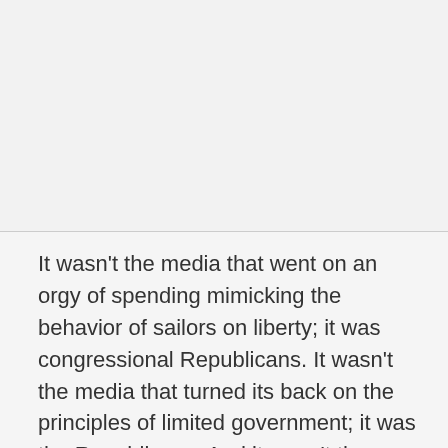[Figure (other): Blank light gray upper portion of the page, separated by a horizontal line]
It wasn't the media that went on an orgy of spending mimicking the behavior of sailors on liberty; it was congressional Republicans. It wasn't the media that turned its back on the principles of limited government; it was the Republicans. And it wasn't the media that